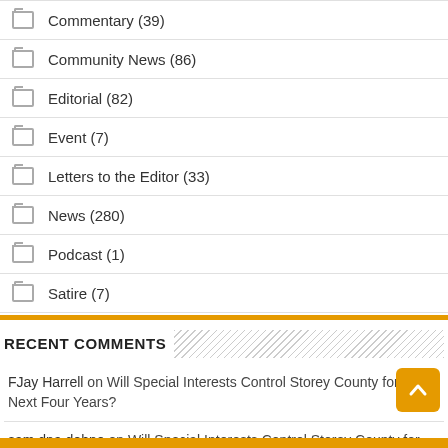Commentary (39)
Community News (86)
Editorial (82)
Event (7)
Letters to the Editor (33)
News (280)
Podcast (1)
Satire (7)
RECENT COMMENTS
FJay Harrell on Will Special Interests Control Storey County for the Next Four Years?
sam dna dehne on Will Special Interests Control Storey County for the Next Four Years?
sam dna dehne on County Commission Race Turns Ugly